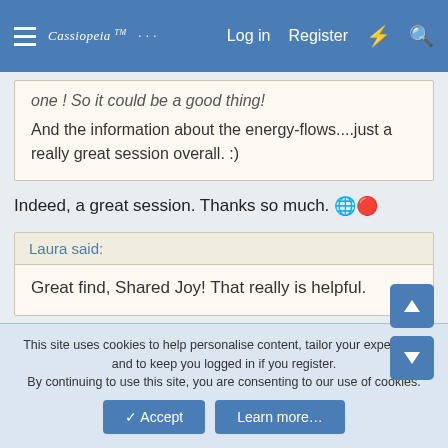Cassiopeia — Log in  Register
one ! So it could be a good thing!
And the information about the energy-flows....just a really great session overall. :)
Indeed, a great session. Thanks so much. 🌐🌐
Laura said:
Great find, Shared Joy! That really is helpful.
Ditto to that.
This site uses cookies to help personalise content, tailor your experience and to keep you logged in if you register.
By continuing to use this site, you are consenting to our use of cookies.